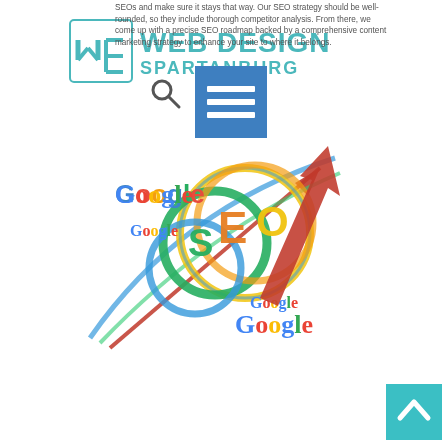Web Design Spartanburg
SEOs and make sure it stays that way. Our SEO strategy should be well-rounded, so they include thorough competitor analysis. From there, we come up with a precise SEO roadmap backed by a comprehensive content marketing strategy to enhance your site to where it belongs.
[Figure (illustration): SEO illustration showing Google logos arranged around colorful circular rings spelling SEO with an upward-trending red arrow indicating growth]
[Figure (other): Back to top navigation button in teal/cyan color with upward chevron arrow]